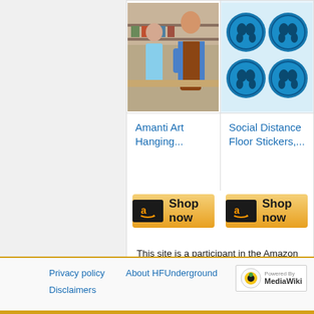[Figure (photo): Photo of store worker in brown apron serving a customer at a retail counter]
[Figure (photo): Blue circular social distance floor stickers with footprint icons]
Amanti Art Hanging...
Social Distance Floor Stickers,...
[Figure (other): Two Amazon 'Shop now' buttons with golden gradient background]
This site is a participant in the Amazon Services LLC Associates Program, an affiliate advertising program designed to provide a means for sites to earn advertising fees by advertising and linking to Amazon.com. Some links may be affiliate links. We may get paid if you buy something or take an action after clicking one of these.
Privacy policy   About HFUnderground   Disclaimers   Powered By MediaWiki